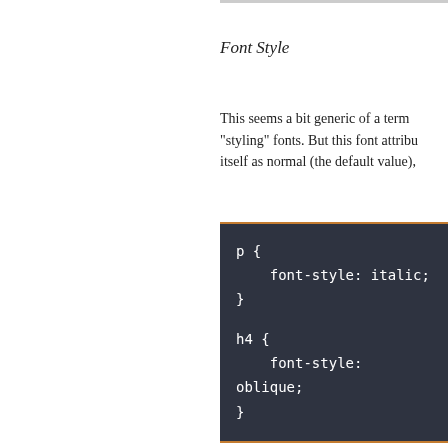Font Style
This seems a bit generic of a term "styling" fonts. But this font attribute describes itself as normal (the default value),
[Figure (screenshot): Dark code block with orange border showing CSS code: p { font-style: italic; } h4 { font-style: oblique; }]
The oblique value isn't used often oblique version. Most browsers us an oblique? That style slants letters is minute but discernible.)